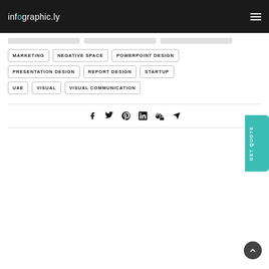infographic.ly
MARKETING
NEGATIVE SPACE
POWERPOINT DESIGN
PRESENTATION DESIGN
REPORT DESIGN
STARTUP
UAE
VISUAL
VISUAL COMMUNICATION
[Figure (infographic): Social media share icons: Facebook, Twitter, Pinterest, LinkedIn, Xing, Telegram]
[Figure (other): GET QUOTE vertical tab (teal background)]
[Figure (other): Back to top circular button (dark gray)]